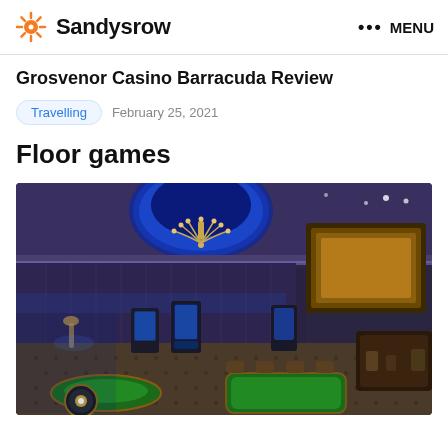Sandysrow  ••• MENU
Grosvenor Casino Barracuda Review
Travelling   February 25, 2021
Floor games
[Figure (photo): Interior of Grosvenor Casino Barracuda showing gaming floor with roulette table, electronic gaming terminals, ornate chandelier, blue-lit ceiling dome, and elegant decor with warm lighting.]